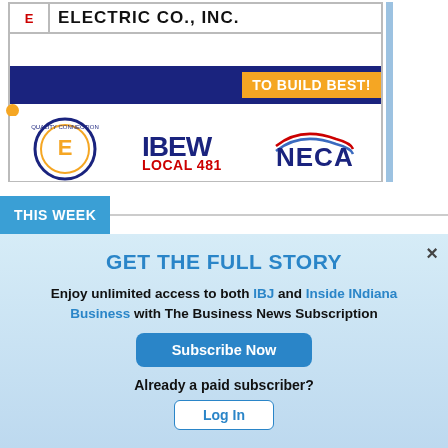[Figure (logo): Advertisement for Electric Co., Inc. with IBEW Local 481 and NECA logos, featuring 'TO BUILD BEST!' tagline on dark blue bar and orange badge]
THIS WEEK
GET THE FULL STORY
Enjoy unlimited access to both IBJ and Inside INdiana Business with The Business News Subscription
Subscribe Now
Already a paid subscriber?
Log In